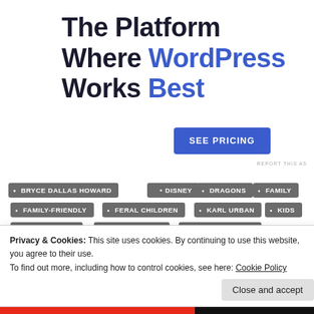The Platform Where WordPress Works Best
SEE PRICING
REPORT THIS AS
BRYCE DALLAS HOWARD
DISNEY
DRAGONS
FAMILY
FAMILY-FRIENDLY
FERAL CHILDREN
KARL URBAN
KIDS
KIDS & FAMILY
OAKES FEGLEY
OONA LAURENCE
ROBERT REDFORD
WES BENTLEY
Privacy & Cookies: This site uses cookies. By continuing to use this website, you agree to their use.
To find out more, including how to control cookies, see here: Cookie Policy
Close and accept